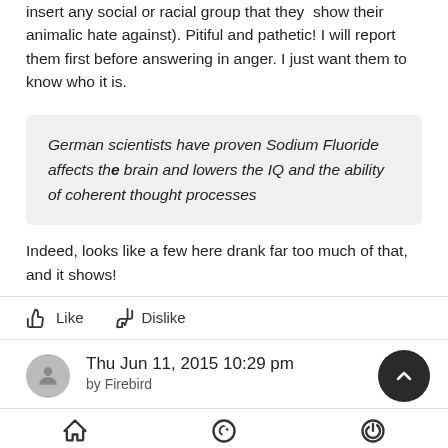insert any social or racial group that they  show their animalic hate against). Pitiful and pathetic! I will report them first before answering in anger. I just want them to know who it is.
German scientists have proven Sodium Fluoride affects the brain and lowers the IQ and the ability of coherent thought processes
Indeed, looks like a few here drank far too much of that, and it shows!
Like   Dislike
Thu Jun 11, 2015 10:29 pm
by Firebird
Home   Last   Log in